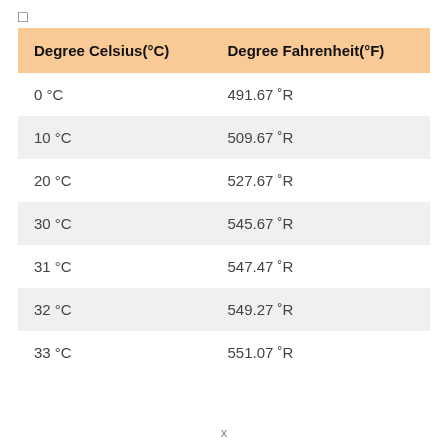| Degree Celsius(°C) | Degree Fahrenheit(°F) |
| --- | --- |
| 0 °C | 491.67 ˚R |
| 10 °C | 509.67 ˚R |
| 20 °C | 527.67 ˚R |
| 30 °C | 545.67 ˚R |
| 31 °C | 547.47 ˚R |
| 32 °C | 549.27 ˚R |
| 33 °C | 551.07 ˚R |